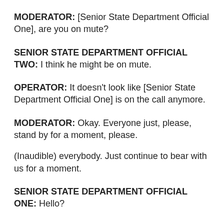MODERATOR: [Senior State Department Official One], are you on mute?
SENIOR STATE DEPARTMENT OFFICIAL TWO: I think he might be on mute.
OPERATOR: It doesn't look like [Senior State Department Official One] is on the call anymore.
MODERATOR: Okay. Everyone just, please, stand by for a moment, please.

(Inaudible) everybody. Just continue to bear with us for a moment.
SENIOR STATE DEPARTMENT OFFICIAL ONE: Hello?